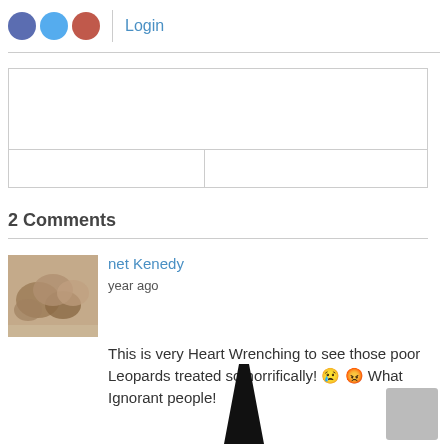[Figure (infographic): Three social media icon circles (dark blue/Facebook, light blue/Twitter, red/Google+) followed by a vertical divider and Login text link]
Login
[Figure (infographic): Comment form area: large text input box on top, two smaller input fields below (name and email)]
2 Comments
[Figure (photo): Thumbnail photo of crabs/shells on sandy beach, partially obscured, used as commenter avatar for Janet Kenedy]
Janet Kenedy
year ago
This is very Heart Wrenching to see those poor Leopards treated so horrifically! 😢 😡 What Ignorant people!